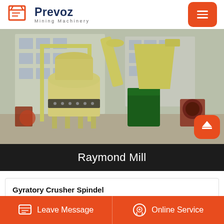Prevoz Mining Machinery
[Figure (photo): Raymond Mill industrial grinding machine in yellow and green, photographed outdoors in a factory yard with multiple other mining machines visible in the background.]
Raymond Mill
Gyratory Crusher Spindel
Leave Message  Online Service